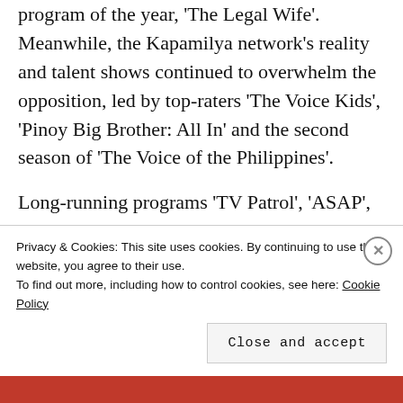program of the year, 'The Legal Wife'. Meanwhile, the Kapamilya network's reality and talent shows continued to overwhelm the opposition, led by top-raters 'The Voice Kids', 'Pinoy Big Brother: All In' and the second season of 'The Voice of the Philippines'.
Long-running programs 'TV Patrol', 'ASAP', 'The Buzz' and 'Maalaala Mo Kaya' remained at the top of their game, while 'It's
Privacy & Cookies: This site uses cookies. By continuing to use this website, you agree to their use.
To find out more, including how to control cookies, see here: Cookie Policy
Close and accept